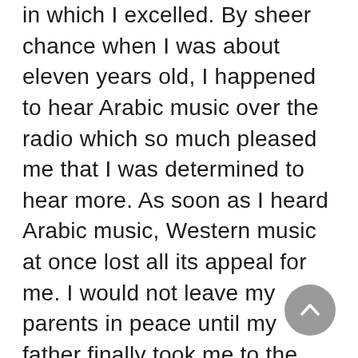in which I excelled. By sheer chance when I was about eleven years old, I happened to hear Arabic music over the radio which so much pleased me that I was determined to hear more. As soon as I heard Arabic music, Western music at once lost all its appeal for me. I would not leave my parents in peace until my father finally took me to the Syrian section of New York City where I bought a stack of Arabic recordings for my gramophone. The one I liked best was a rendition of Surah Maryam of the Holy Qur'an chanted by Um Kulthum. Then in 1947 I could not foresee what an evil woman she was to become in her later years. I could only
[Figure (other): A circular grey scroll-to-top button with an upward chevron arrow, positioned at the bottom right of the page.]